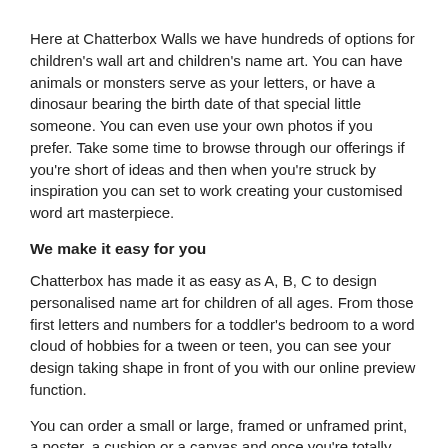Here at Chatterbox Walls we have hundreds of options for children's wall art and children's name art. You can have animals or monsters serve as your letters, or have a dinosaur bearing the birth date of that special little someone. You can even use your own photos if you prefer. Take some time to browse through our offerings if you're short of ideas and then when you're struck by inspiration you can set to work creating your customised word art masterpiece.
We make it easy for you
Chatterbox has made it as easy as A, B, C to design personalised name art for children of all ages. From those first letters and numbers for a toddler's bedroom to a word cloud of hobbies for a tween or teen, you can see your design taking shape in front of you with our online preview function.
You can order a small or large, framed or unframed print, a poster, a cushion or a canvas and once you're totally happy with your design, you simply approve your created art on screen and we'll do all the heavy lifting from there.
We can frame your artwork for you if you like, as we have a wide selection of frames in lots of different colours & sizes.